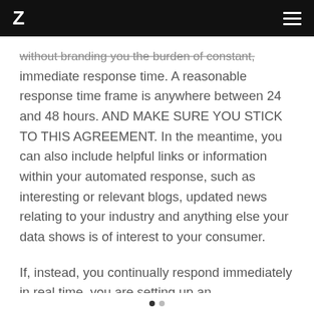Z ≡
without branding you the burden of constant, immediate response time. A reasonable response time frame is anywhere between 24 and 48 hours. AND MAKE SURE YOU STICK TO THIS AGREEMENT. In the meantime, you can also include helpful links or information within your automated response, such as interesting or relevant blogs, updated news relating to your industry and anything else your data shows is of interest to your consumer.
If, instead, you continually respond immediately in real time, you are setting up an unsustainable precedent that will burn you out, and leave your customers unsatisfied.
• •